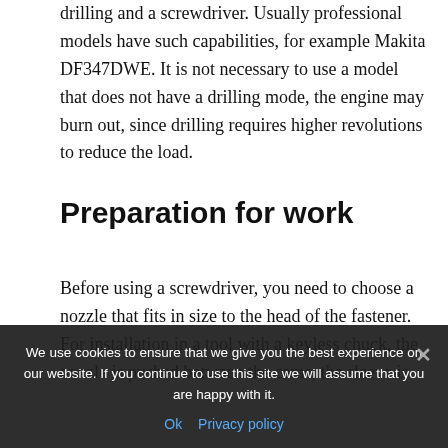drilling and a screwdriver. Usually professional models have such capabilities, for example Makita DF347DWE. It is not necessary to use a model that does not have a drilling mode, the engine may burn out, since drilling requires higher revolutions to reduce the load.
Preparation for work
Before using a screwdriver, you need to choose a nozzle that fits in size to the head of the fastener. For installation in a tool with a keyless chuck, the nozzle is pushed between the cams, the sleeve is turned
We use cookies to ensure that we give you the best experience on our website. If you continue to use this site we will assume that you are happy with it.
Ok   Privacy policy